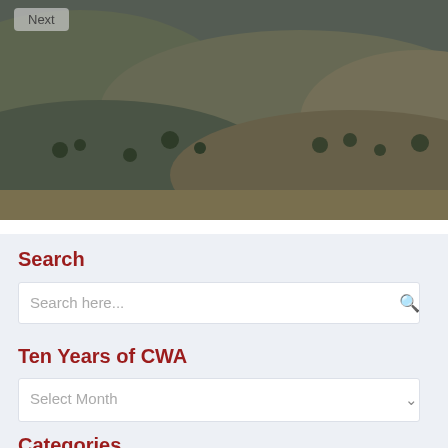[Figure (photo): Aerial landscape photograph of hilly terrain with sparse trees and vegetation, used as a hero image background for a blog post navigation element]
Next
Madeleine Thien in Palestine
January 25, 2018
Search
Search here...
Ten Years of CWA
Select Month
Categories